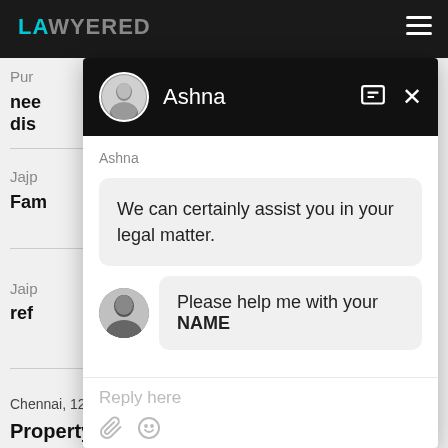LAWYERED
Pur
need
dis
Jajp
Fam
Jaip
ref
Chennai, 12 Jun, 2021, (1 year, 2 months ago)
Property issue
[Figure (screenshot): Chat popup overlay from Lawyered website showing a conversation with chatbot agent named Ashna. The agent says 'We can certainly assist you in your legal matter.' and then asks 'Please help me with your NAME'. There is a reply input field at the bottom with attachment and emoji icons.]